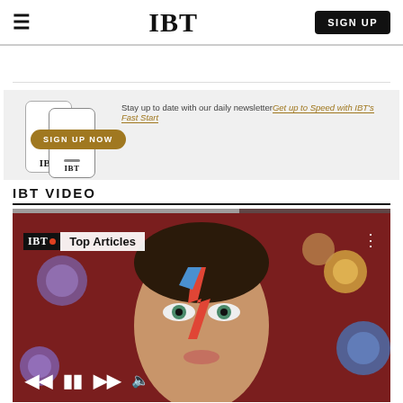IBT
[Figure (screenshot): Newsletter signup banner with IBT phones illustration, 'Stay up to date with our daily newsletter' text, 'Get up to Speed with IBT's Fast Start' link, and 'SIGN UP NOW' gold button]
IBT VIDEO
[Figure (screenshot): IBT video player showing colorful portrait image (Aladdin Sane style face painting with cosmic orbs) with 'IBT Top Articles' overlay label, video controls at bottom (skip back, pause, skip forward, mute), and three-dot menu icon]